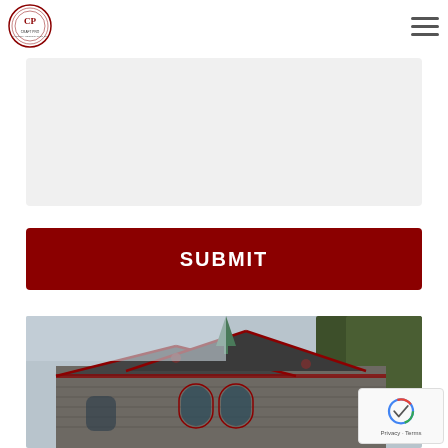CraftPro logo and navigation hamburger menu
[Figure (other): Gray textarea input field (empty form field)]
SUBMIT
[Figure (photo): Historic stone church/building with red-trimmed roof, arched windows, and a green spire, surrounded by trees under an overcast sky]